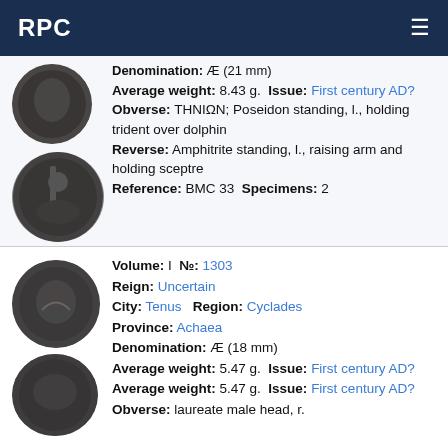RPC
[Figure (photo): Ancient coin obverse, partially visible at top]
[Figure (photo): Ancient coin showing Poseidon standing, holding trident over dolphin]
Denomination: Æ (21 mm) Average weight: 8.43 g. Issue: First century AD? Obverse: THNION; Poseidon standing, l., holding trident over dolphin Reverse: Amphitrite standing, l., raising arm and holding sceptre Reference: BMC 33 Specimens: 2
[Figure (photo): Ancient coin obverse showing laureate head]
[Figure (photo): Ancient coin reverse, partially visible]
Volume: I No: 1303 Reign: Uncertain City: Tenus Region: Cyclades Province: Achaea Denomination: Æ (18 mm) Average weight: 5.47 g. Issue: First century AD? Obverse: laureate male head, r.